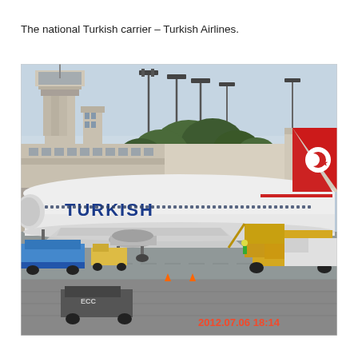The national Turkish carrier – Turkish Airlines.
[Figure (photo): A Turkish Airlines Boeing 737 aircraft parked at an airport gate. The plane is white with 'TURKISH' written on the fuselage in blue letters and a red tail fin featuring the Turkish Airlines logo (crescent and star). Airport control tower and trees visible in background. Ground vehicles and jet bridge visible nearby. A timestamp reads '2012.07.06 18:14' in red in the lower right corner of the photo.]